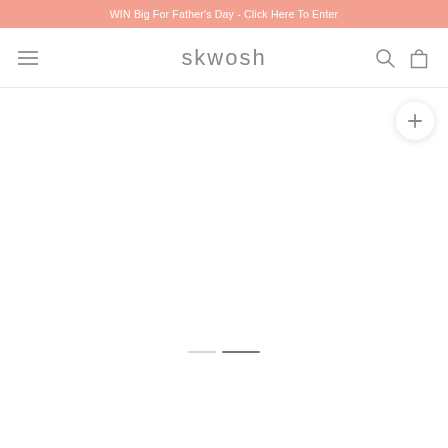WIN Big For Father's Day - Click Here To Enter
[Figure (screenshot): Skwosh e-commerce website header with salmon/coral banner announcement, hamburger menu icon on left, 'skwosh' logo in center, search and cart icons on right, plus button overlay, and slide indicator dots on white background]
skwosh